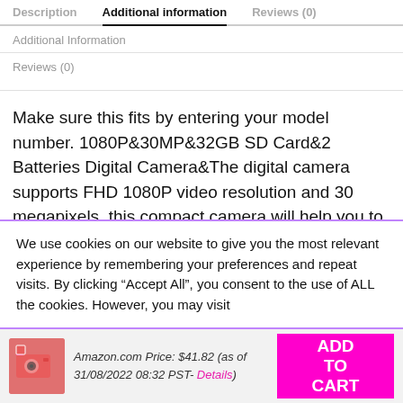Description  Additional information  Reviews (0)
Additional Information
Reviews (0)
Make sure this fits by entering your model number. 1080P&30MP&32GB SD Card&2 Batteries Digital Camera—The digital camera supports FHD 1080P video resolution and 30 megapixels, this compact camera will help you to capture and record
We use cookies on our website to give you the most relevant experience by remembering your preferences and repeat visits. By clicking "Accept All", you consent to the use of ALL the cookies. However, you may visit
Amazon.com Price: $41.82 (as of 31/08/2022 08:32 PST- Details)